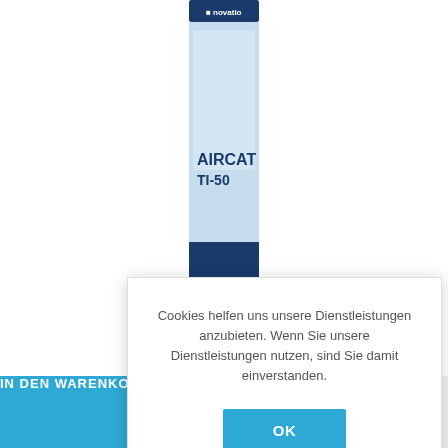[Figure (photo): Novatio AIRCAT TI-50 product can, light blue label with dark blue branding, partially visible behind cookie dialog]
Cookies helfen uns unsere Dienstleistungen anzubieten. Wenn Sie unsere Dienstleistungen nutzen, sind Sie damit einverstanden.
OK
Mehr dazu
Nov
€39,99  €37,99
IN DEN WARENKORB